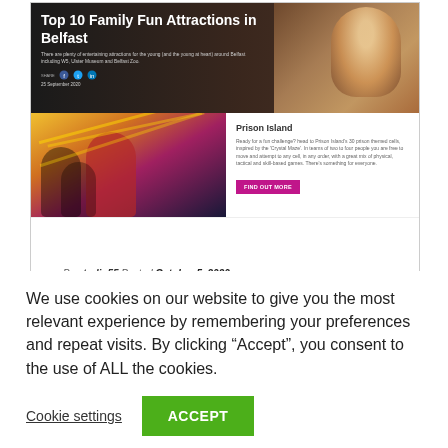[Figure (screenshot): Screenshot of a website page showing 'Top 10 Family Fun Attractions in Belfast' article with hero image, Prison Island section with pink Find Out More button, article meta (By studio55, Posted October 5, 2020, 0 likes), and article title 'PRISON ISLAND RATED A']
We use cookies on our website to give you the most relevant experience by remembering your preferences and repeat visits. By clicking “Accept”, you consent to the use of ALL the cookies.
Cookie settings
ACCEPT